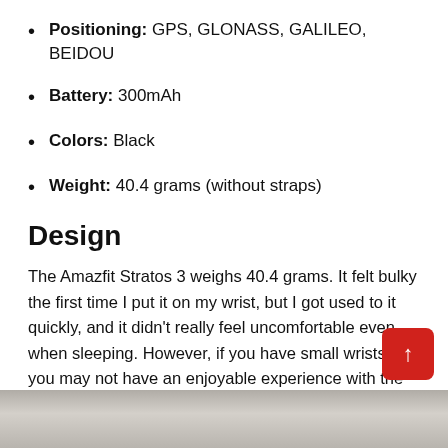Positioning: GPS, GLONASS, GALILEO, BEIDOU
Battery: 300mAh
Colors: Black
Weight: 40.4 grams (without straps)
Design
The Amazfit Stratos 3 weighs 40.4 grams. It felt bulky the first time I put it on my wrist, but I got used to it quickly, and it didn't really feel uncomfortable even when sleeping. However, if you have small wrists, you may not have an enjoyable experience with the Stratos 3.
[Figure (photo): Bottom strip showing a partial photo of the Amazfit Stratos 3 watch]